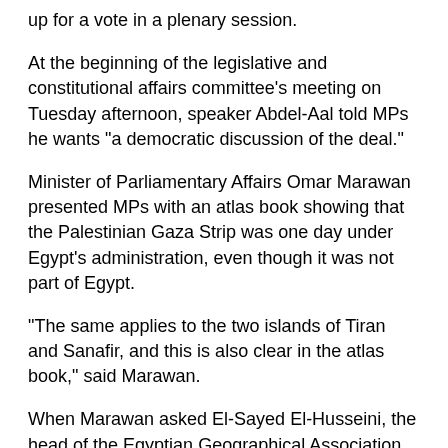up for a vote in a plenary session.
At the beginning of the legislative and constitutional affairs committee's meeting on Tuesday afternoon, speaker Abdel-Aal told MPs he wants "a democratic discussion of the deal."
Minister of Parliamentary Affairs Omar Marawan presented MPs with an atlas book showing that the Palestinian Gaza Strip was one day under Egypt's administration, even though it was not part of Egypt.
"The same applies to the two islands of Tiran and Sanafir, and this is also clear in the atlas book," said Marawan.
When Marawan asked El-Sayed El-Husseini, the head of the Egyptian Geographical Association, to give his opinion before MPs on the atlas book, members of the opposition 25-30 bloc objected, saying that El-Husseini had already addressed MPs four times and “has nothing new to say, but insists that the two islands are Saudi.”